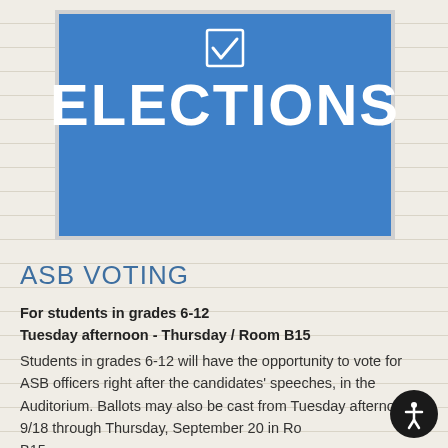[Figure (illustration): Blue elections banner with a checkbox icon at the top and the word ELECTIONS in large white bold text]
ASB VOTING
For students in grades 6-12
Tuesday afternoon - Thursday / Room B15
Students in grades 6-12 will have the opportunity to vote for ASB officers right after the candidates' speeches, in the Auditorium. Ballots may also be cast from Tuesday afternoon, 9/18 through Thursday, September 20 in Room B15.